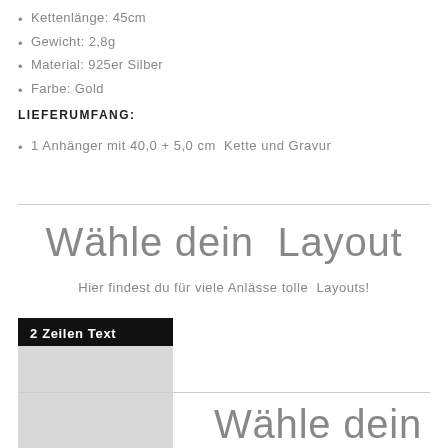Kettenlänge: 45cm
Gewicht: 2,8g
Material: 925er Silber
Farbe: Gold
LIEFERUMFANG:
1 Anhänger mit 40,0 + 5,0 cm Kette und Gravur
Wähle dein Layout
Hier findest du für viele Anlässe tolle Layouts!
2 Zeilen Text
Wähle dein Icon